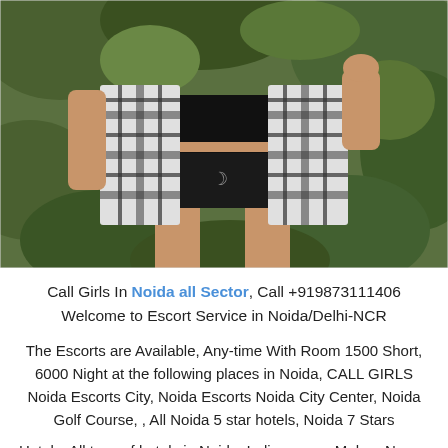[Figure (photo): A person wearing a black and white plaid/checkered open shirt over a black crop top and black mini skirt, standing outdoors in front of green leafy bushes.]
Call Girls In Noida all Sector, Call +919873111406 Welcome to Escort Service in Noida/Delhi-NCR
The Escorts are Available, Any-time With Room 1500 Short, 6000 Night at the following places in Noida, CALL GIRLS Noida Escorts City, Noida Escorts Noida City Center, Noida Golf Course, , All Noida 5 star hotels, Noida 7 Stars
Hotels, All type of hotels in Noida, Indirapuram, Mohan Nagar, Raj